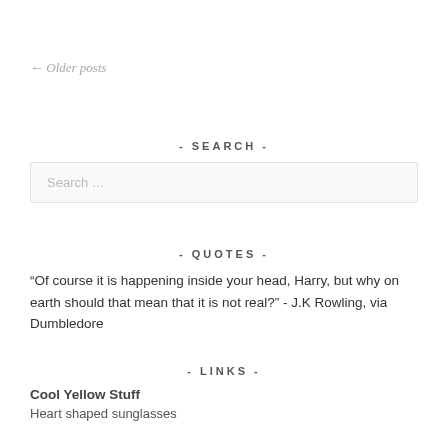← Older posts
- SEARCH -
Search …
- QUOTES -
“Of course it is happening inside your head, Harry, but why on earth should that mean that it is not real?” - J.K Rowling, via Dumbledore
- LINKS -
Cool Yellow Stuff
Heart shaped sunglasses